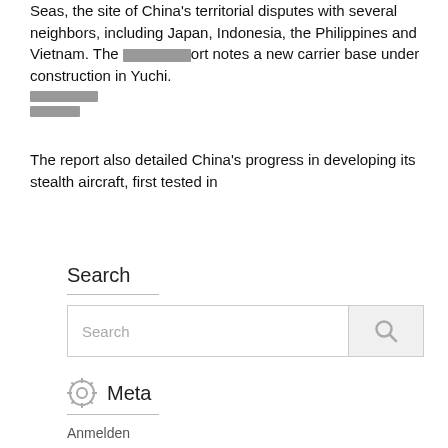Seas, the site of China's territorial disputes with several neighbors, including Japan, Indonesia, the Philippines and Vietnam. The report notes a new carrier base under construction in Yuchi.
The report also detailed China's progress in developing its stealth aircraft, first tested in
Search
[Figure (screenshot): Search input box with a search icon on the right side, placeholder text 'Search']
Meta
Anmelden